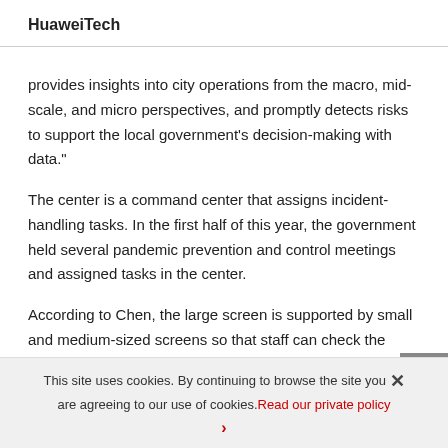HuaweiTech
provides insights into city operations from the macro, mid-scale, and micro perspectives, and promptly detects risks to support the local government's decision-making with data."
The center is a command center that assigns incident-handling tasks. In the first half of this year, the government held several pandemic prevention and control meetings and assigned tasks in the center.
According to Chen, the large screen is supported by small and medium-sized screens so that staff can check the city's operation status anytime, anywhere. The smart government service system
This site uses cookies. By continuing to browse the site you are agreeing to our use of cookies. Read our private policy ›